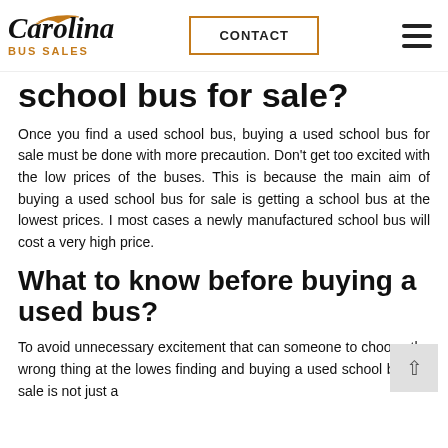Carolina Bus Sales | CONTACT
school bus for sale?
Once you find a used school bus, buying a used school bus for sale must be done with more precaution. Don't get too excited with the low prices of the buses. This is because the main aim of buying a used school bus for sale is getting a school bus at the lowest prices. I most cases a newly manufactured school bus will cost a very high price.
What to know before buying a used bus?
To avoid unnecessary excitement that can someone to choose the wrong thing at the lowes finding and buying a used school bus for sale is not just a